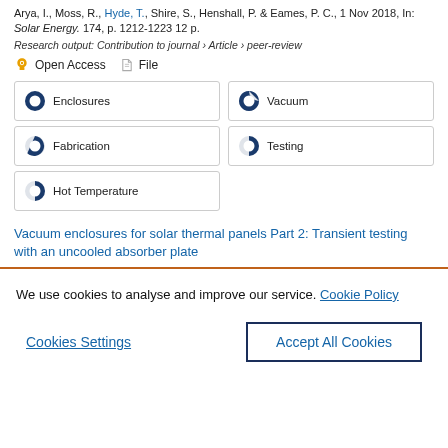Arya, I., Moss, R., Hyde, T., Shire, S., Henshall, P. & Eames, P. C., 1 Nov 2018, In: Solar Energy. 174, p. 1212-1223 12 p.
Research output: Contribution to journal › Article › peer-review
Open Access   File
Enclosures 100%
Vacuum 93%
Fabrication 79%
Testing 59%
Hot Temperature 59%
Vacuum enclosures for solar thermal panels Part 2: Transient testing with an uncooled absorber plate
We use cookies to analyse and improve our service. Cookie Policy
Cookies Settings
Accept All Cookies